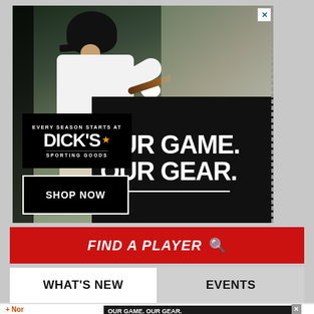[Figure (photo): Dick's Sporting Goods advertisement showing a baseball batter mid-swing in white uniform and black helmet, with text 'OUR GAME. OUR GEAR.' and 'SHOP NOW' button and Dick's Sporting Goods logo]
[Figure (screenshot): Red navigation bar with 'FIND A PLAYER' text and search icon]
WHAT'S NEW
EVENTS
[Figure (screenshot): Bottom Dick's Sporting Goods advertisement banner with 'OUR GAME. OUR GEAR.' and 'SHOP NOW' button]
+ Nor
+ Con